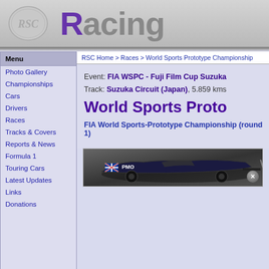RSC Racing - header with logo and Racing title
Photo Gallery
Championships
Cars
Drivers
Races
Tracks & Covers
Reports & News
Formula 1
Touring Cars
Latest Updates
Links
Donations
RSC Home > Races > World Sports Prototype Championship
Event: FIA WSPC - Fuji Film Cup Suzuka
Track: Suzuka Circuit (Japan), 5.859 kms
World Sports Proto
FIA World Sports-Prototype Championship (round 1)
[Figure (photo): Racing car photo - dark prototype race car with PMO livery and union jack flag]